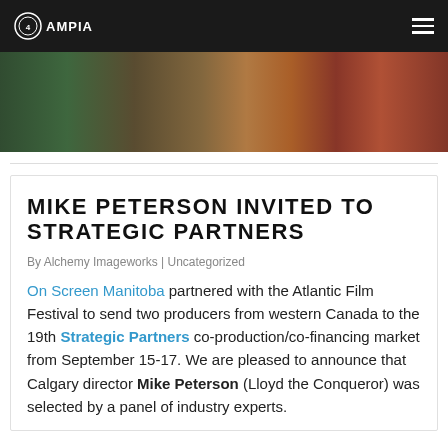AMPIA
[Figure (photo): A partial photo strip showing people, likely musicians or performers, with warm tones of green, orange and red.]
MIKE PETERSON INVITED TO STRATEGIC PARTNERS
By Alchemy Imageworks | Uncategorized
On Screen Manitoba partnered with the Atlantic Film Festival to send two producers from western Canada to the 19th Strategic Partners co-production/co-financing market from September 15-17. We are pleased to announce that Calgary director Mike Peterson (Lloyd the Conqueror) was selected by a panel of industry experts.